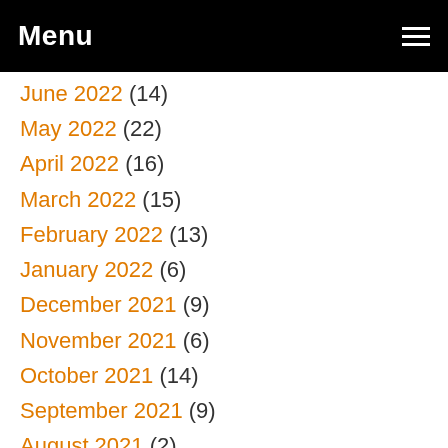Menu
June 2022 (14)
May 2022 (22)
April 2022 (16)
March 2022 (15)
February 2022 (13)
January 2022 (6)
December 2021 (9)
November 2021 (6)
October 2021 (14)
September 2021 (9)
August 2021 (2)
July 2021 (5)
June 2021 (2)
May 2021 (2)
April 2021 (20)